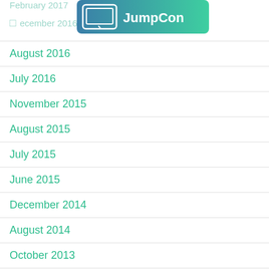February 2017
[Figure (logo): JumpCon logo with monitor icon on teal gradient background]
December 2016
August 2016
July 2016
November 2015
August 2015
July 2015
June 2015
December 2014
August 2014
October 2013
April 2011